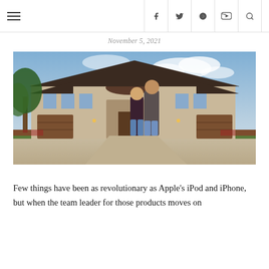☰  f  🐦  Pinterest  YouTube  🔍
November 5, 2021
[Figure (photo): A couple (man and woman) standing in front of a large luxury home with a tile roof, stone accents, large garage doors, and landscaped front yard.]
Few things have been as revolutionary as Apple's iPod and iPhone, but when the team leader for those products moves on